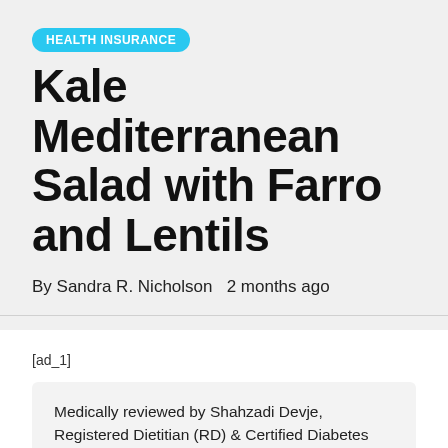HEALTH INSURANCE
Kale Mediterranean Salad with Farro and Lentils
By Sandra R. Nicholson   2 months ago
[ad_1]
Medically reviewed by Shahzadi Devje, Registered Dietitian (RD) & Certified Diabetes Educator (CDE)
This Mediterranean salad is made with nutritious ingredients, doused in a flavourful